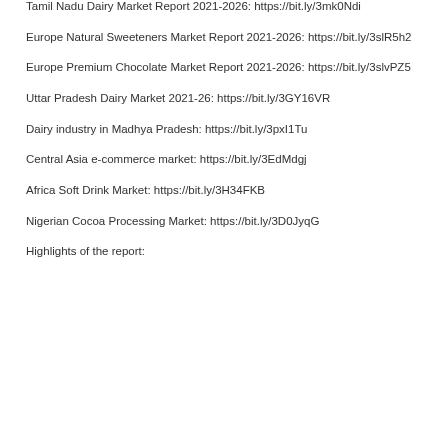Tamil Nadu Dairy Market Report 2021-2026: https://bit.ly/3mk0Ndi
Europe Natural Sweeteners Market Report 2021-2026: https://bit.ly/3slR5h2
Europe Premium Chocolate Market Report 2021-2026: https://bit.ly/3slvPZ5
Uttar Pradesh Dairy Market 2021-26: https://bit.ly/3GY16VR
Dairy industry in Madhya Pradesh: https://bit.ly/3pxI1Tu
Central Asia e-commerce market: https://bit.ly/3EdMdgj
Africa Soft Drink Market: https://bit.ly/3H34FKB
Nigerian Cocoa Processing Market: https://bit.ly/3D0JyqG
Highlights of the report: